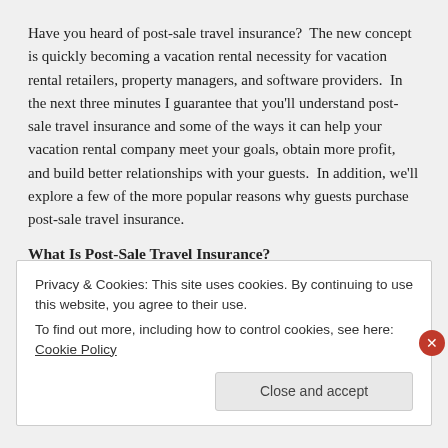Have you heard of post-sale travel insurance? The new concept is quickly becoming a vacation rental necessity for vacation rental retailers, property managers, and software providers. In the next three minutes I guarantee that you'll understand post-sale travel insurance and some of the ways it can help your vacation rental company meet your goals, obtain more profit, and build better relationships with your guests. In addition, we'll explore a few of the more popular reasons why guests purchase post-sale travel insurance.
What Is Post-Sale Travel Insurance?
Travel insurance is a common way to protect guests from the risks of travel, and most professionals in the vacation rental industry understand how it works. Post-sale travel insurance, on the other hand, is new and different from any other travel insurance products. The primary
Privacy & Cookies: This site uses cookies. By continuing to use this website, you agree to their use.
To find out more, including how to control cookies, see here: Cookie Policy
Close and accept